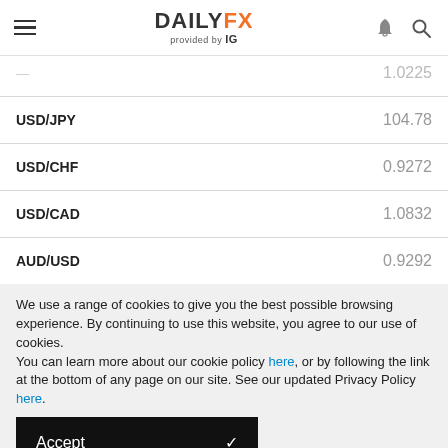DAILYFX provided by IG
| Pair | Value |
| --- | --- |
| (partial) | 1.0225 |
| USD/JPY | 104.78 |
| USD/CHF | 0.9272 |
| USD/CAD | 1.0832 |
| AUD/USD | 0.9292 |
We use a range of cookies to give you the best possible browsing experience. By continuing to use this website, you agree to our use of cookies.
You can learn more about our cookie policy here, or by following the link at the bottom of any page on our site. See our updated Privacy Policy here.
Accept ✓